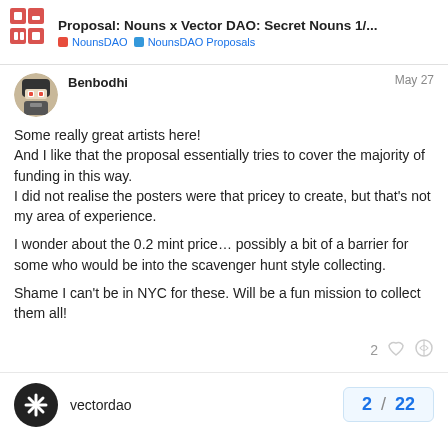Proposal: Nouns x Vector DAO: Secret Nouns 1/... — NounsDAO — NounsDAO Proposals
Benbodhi
May 27
Some really great artists here!
And I like that the proposal essentially tries to cover the majority of funding in this way.
I did not realise the posters were that pricey to create, but that's not my area of experience.

I wonder about the 0.2 mint price… possibly a bit of a barrier for some who would be into the scavenger hunt style collecting.

Shame I can't be in NYC for these. Will be a fun mission to collect them all!
vectordao
2 / 22